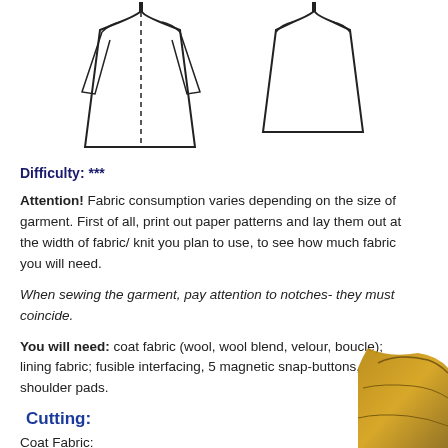[Figure (illustration): Technical flat sketch of a women's coat shown from front (with dashed center front line) and back views. The coat is long with a flared hem and structured shoulders.]
Difficulty: ***
Attention! Fabric consumption varies depending on the size of garment. First of all, print out paper patterns and lay them out at the width of fabric/ knit you plan to use, to see how much fabric you will need.
When sewing the garment, pay attention to notches- they must coincide.
You will need: coat fabric (wool, wool blend, velour, boucle); lining fabric; fusible interfacing, 5 magnetic snap-buttons, shoulder pads.
Cutting:
Coat Fabric:
1. Back - 2 pieces
2. Front - 2 pieces
3. Sleeve - 2 pieces
4. Hood - 2 pieces
[Figure (photo): Partial photo of a woman wearing the finished coat, showing the lower portion in golden/mustard color, visible at the bottom right corner.]